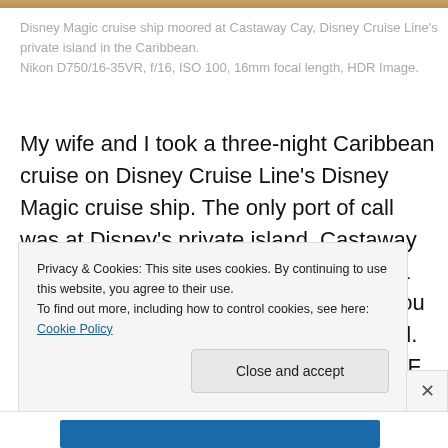[Figure (photo): Top strip of a photo showing Disney Magic cruise ship moored at Castaway Cay]
Disney Magic cruise ship moored at Castaway Cay, Disney Cruise Line's private island in the Caribbean.
Nikon D750/16-35VR, f/16, ISO 100, 16mm focal length, HDR Image.
My wife and I took a three-night Caribbean cruise on Disney Cruise Line's Disney Magic cruise ship. The only port of call was at Disney's private island, Castaway Cay. As you can see, the weather was a bit cloudy and cool compared to what you would associate with a Caribbean island. Still, it was a far cry from the 25 degree F weather
Privacy & Cookies: This site uses cookies. By continuing to use this website, you agree to their use.
To find out more, including how to control cookies, see here: Cookie Policy